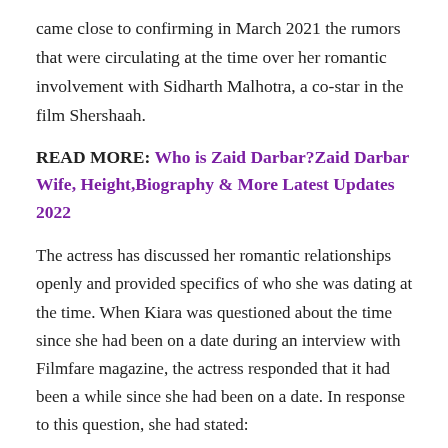came close to confirming in March 2021 the rumors that were circulating at the time over her romantic involvement with Sidharth Malhotra, a co-star in the film Shershaah.
READ MORE: Who is Zaid Darbar?Zaid Darbar Wife, Height,Biography & More Latest Updates 2022
The actress has discussed her romantic relationships openly and provided specifics of who she was dating at the time. When Kiara was questioned about the time since she had been on a date during an interview with Filmfare magazine, the actress responded that it had been a while since she had been on a date. In response to this question, she had stated:
“When was the last time I went out on a date? This year, at some point in time. And considering that this year is only two